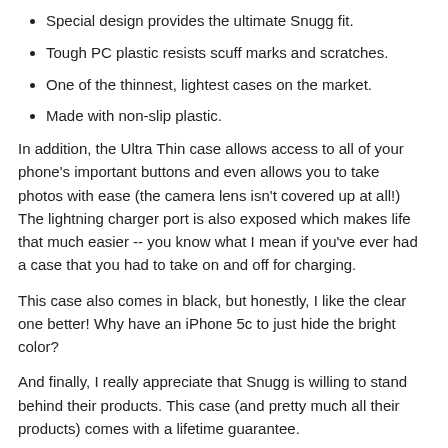Special design provides the ultimate Snugg fit.
Tough PC plastic resists scuff marks and scratches.
One of the thinnest, lightest cases on the market.
Made with non-slip plastic.
In addition, the Ultra Thin case allows access to all of your phone's important buttons and even allows you to take photos with ease (the camera lens isn't covered up at all!) The lightning charger port is also exposed which makes life that much easier -- you know what I mean if you've ever had a case that you had to take on and off for charging.
This case also comes in black, but honestly, I like the clear one better! Why have an iPhone 5c to just hide the bright color?
And finally, I really appreciate that Snugg is willing to stand behind their products. This case (and pretty much all their products) comes with a lifetime guarantee.
I've been using this case for about two weeks now and I truly